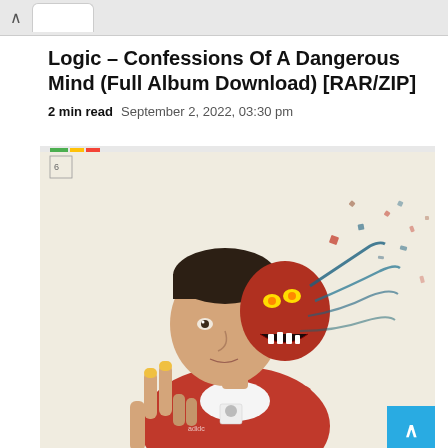Logic – Confessions Of A Dangerous Mind (Full Album Download) [RAR/ZIP]
2 min read   September 2, 2022, 03:30 pm
[Figure (illustration): Album cover artwork for Logic – Confessions Of A Dangerous Mind. Shows a young man in a red jacket giving a peace sign, with the right side of his face transforming into a red demonic creature with yellow eyes, fragmenting into pieces. Illustrated comic-book style on a cream background. Small colored stripes (green, yellow, red) visible at top left corner.]